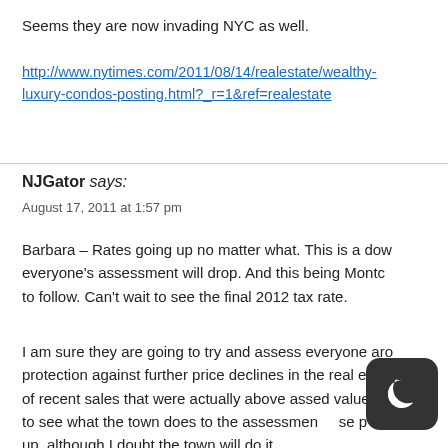Seems they are now invading NYC as well.
http://www.nytimes.com/2011/08/14/realestate/wealthy-luxury-condos-posting.html?_r=1&ref=realestate
NJGator says:
August 17, 2011 at 1:57 pm
Barbara – Rates going up no matter what. This is a dow everyone's assessment will drop. And this being Montc to follow. Can't wait to see the final 2012 tax rate.
I am sure they are going to try and assess everyone aro protection against further price declines in the real esta of recent sales that were actually above assessed value. to see what the town does to the assessment on those p up, although I doubt the town will do it.